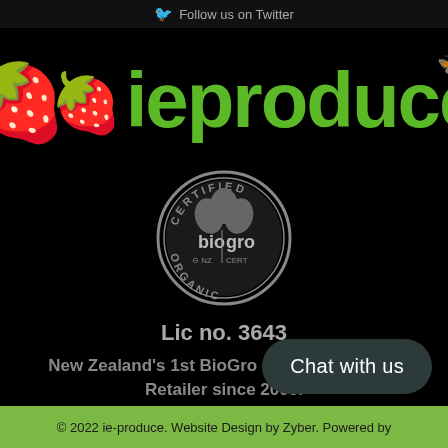Follow us on Twitter
[Figure (logo): ieproduce.com logo with two red strawberries and green bold text 'ieproduce' with a butterfly icon and '.com' on the right side]
[Figure (logo): BioGro NZ Certified Organic certification badge - circular grey badge with 'CERTIFIED' at top, 'bio gro' in center, 'NZ CERT' below, 'ORGANIC' at bottom]
Lic no. 3643
New Zealand's 1st BioGro Certified Organic Retailer since 2000.
Chat with us
© 2022 ie-produce. Website Design by Zyber. Powered by